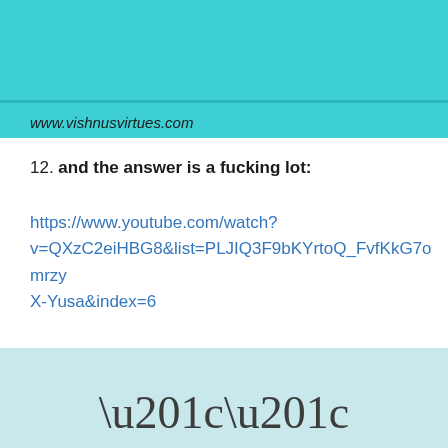[Figure (other): Teal/turquoise banner at the top of the page with a darker dividing line and website URL text]
www.vishnusvirtues.com
12. and the answer is a fucking lot:
https://www.youtube.com/watch?v=QXzC2eiHBG8&list=PLJIQ3F9bKYrtoQ_FvfKkG7omrzyX-Yusa&index=6
[Figure (other): Light blue/teal banner at the bottom of the page with large opening quotation marks centered]